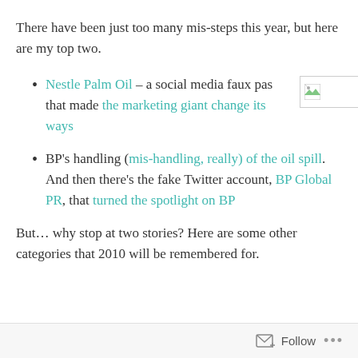There have been just too many mis-steps this year, but here are my top two.
Nestle Palm Oil – a social media faux pas that made the marketing giant change its ways
[Figure (other): Broken/placeholder image thumbnail]
BP's handling (mis-handling, really) of the oil spill. And then there's the fake Twitter account, BP Global PR, that turned the spotlight on BP
But… why stop at two stories? Here are some other categories that 2010 will be remembered for.
Follow ...